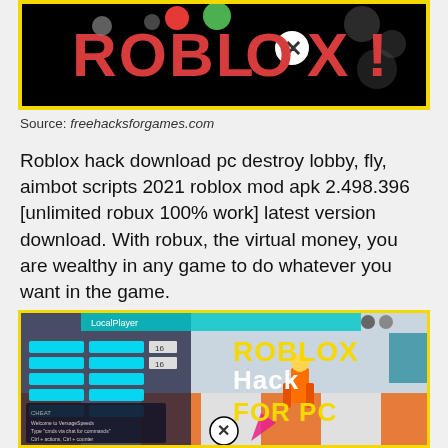[Figure (screenshot): Roblox hack promotional image with yellow border, Roblox logo text on black background]
Source: freehacksforgames.com
Roblox hack download pc destroy lobby, fly, aimbot scripts 2021 roblox mod apk 2.498.396 [unlimited robux 100% work] latest version download. With robux, the virtual money, you are wealthy in any game to do whatever you want in the game.
[Figure (screenshot): Roblox game screenshot showing hack menu interface with cyan buttons and 'ROBLOX Hack FOR PC' text overlay in yellow and white]